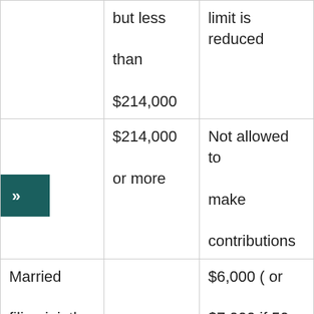| Filing Status | Income Range | Contribution Limit |
| --- | --- | --- |
|  | but less than $214,000 | limit is reduced |
|  | $214,000 or more | Not allowed to make contributions |
| Married filing jointly or | Less than | $6,000 ( or $7,000 if 50 or |